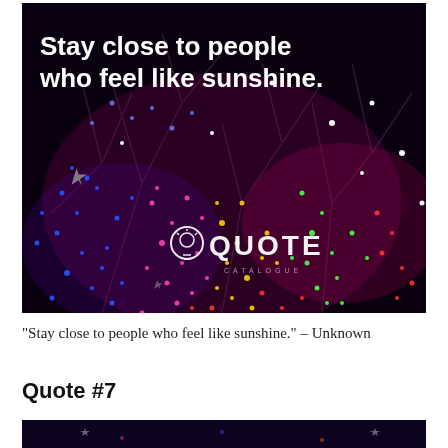[Figure (photo): Dark night-time photo of tree branches covered in colorful string lights (blue, pink, purple, yellow, green, red), with star-shaped silver decorations. White text overlay reads 'Stay close to people who feel like sunshine.' and a watermark logo 'QUOTE' with a lightbulb icon.]
“Stay close to people who feel like sunshine.” – Unknown
Quote #7